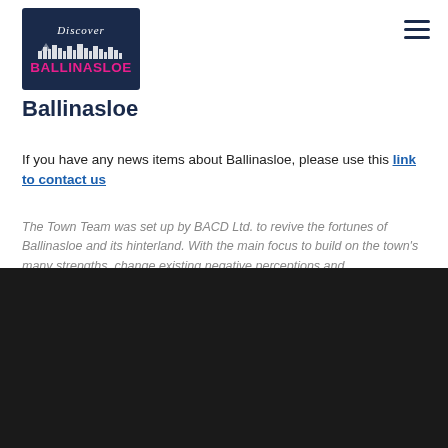[Figure (logo): Discover Ballinasloe logo with dark navy background, pink text and city skyline silhouette]
Ballinasloe
If you have any news items about Ballinasloe, please use this link to contact us
The Town Team was set up by BACD Ltd. to revive the fortunes of Ballinasloe and its hinterland. With the main focus to build on the town's many strengths, change existing negative perceptions and
We use cookies
We use cookies and other tracking technologies to improve your browsing experience on our website, to show you personalized content and targeted ads, to analyze our website traffic, and